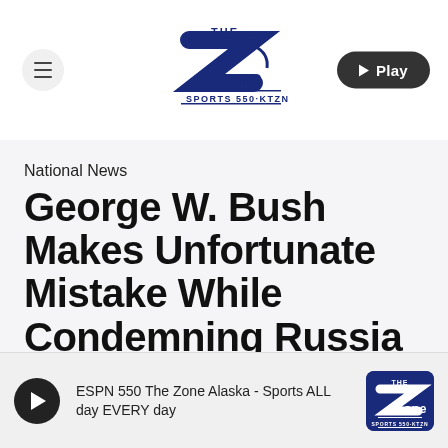The Zone Sports 550-KTZN
National News
George W. Bush Makes Unfortunate Mistake While Condemning Russia
By Jason Hall
ESPN 550 The Zone Alaska - Sports ALL day EVERY day